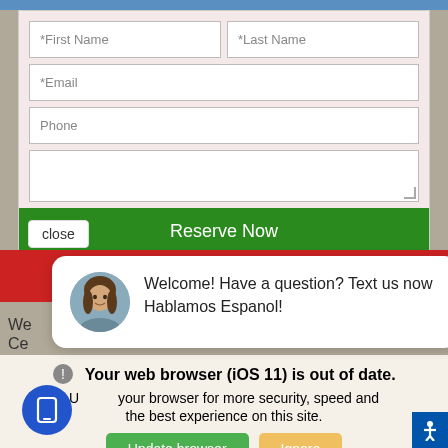[Figure (screenshot): Web form with First Name, Last Name, Email, Phone fields and a Reserve Now button, with a close button below]
[Figure (screenshot): Chat bubble popup with avatar image: 'Welcome! Have a question? Text us now Hablamos Espanol!']
We … our service. Ce…
Your web browser (iOS 11) is out of date. Update your browser for more security, speed and the best experience on this site.
[Figure (screenshot): Update browser / Ignore buttons and floating mobile icon and accessibility button]